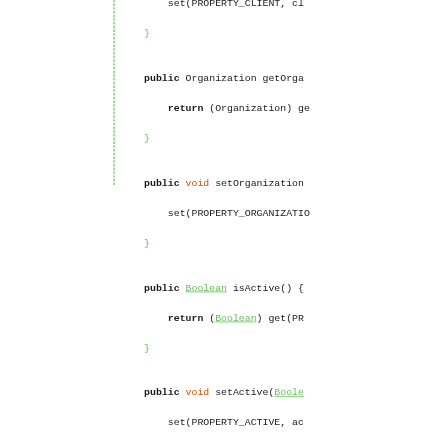[Figure (screenshot): Java source code screenshot showing public methods: getOrganization, setOrganization, isActive, setActive, getCreationDate, setCreationDate, getCreatedBy. Left half is blank white with a green dashed vertical divider separating it from the code panel on the right.]